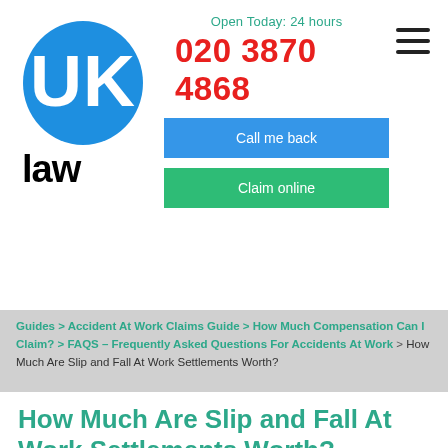[Figure (logo): UK Law logo — blue oval with UK letters and 'law' text below]
Open Today: 24 hours
020 3870 4868
Call me back
Claim online
Guides > Accident At Work Claims Guide > How Much Compensation Can I Claim? > FAQS – Frequently Asked Questions For Accidents At Work > How Much Are Slip and Fall At Work Settlements Worth?
How Much Are Slip and Fall At Work Settlements Worth?
Are you interested in knowing how to calculate slip and fall at work settlements? Perhaps you fell in your workplace because of missing health and safety precaution and safety signs and you are considering a claim?
Was your employer